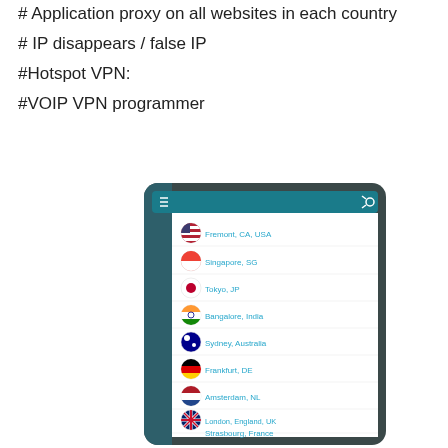# Application proxy on all websites in each country
# IP disappears / false IP
#Hotspot VPN:
#VOIP VPN programmer
[Figure (screenshot): Mobile app screenshot showing a VPN server list with country flags and city locations: Fremont CA USA, Singapore SG, Tokyo JP, Bangalore India, Sydney Australia, Frankfurt DE, Amsterdam NL, London England UK, Strasbourg France, Toronto Canada, Newark NJ USA]